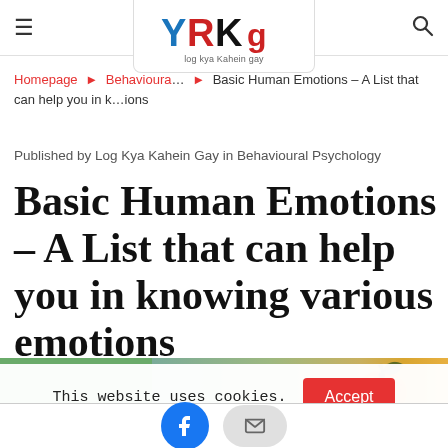≡  [Logo: YRKg / Log Kya Kahein Gay]  🔍
Homepage ► Behavioural… ► Basic Human Emotions – A List that can help you in k… ions
Published by Log Kya Kahein Gay in Behavioural Psychology
Basic Human Emotions – A List that can help you in knowing various emotions
[Figure (photo): Hero image strip with green section on the left and a photo of a decorated orange with an angry emoji face drawn on it on the right]
This website uses cookies.  [Accept button]
[Figure (other): Bottom social share bar with Facebook (blue circle) and email (grey pill) buttons]